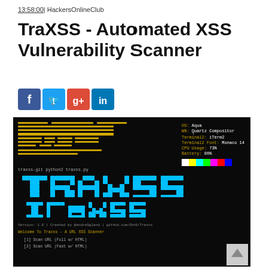13:58:00 | HackersOnlineClub
TraXSS - Automated XSS Vulnerability Scanner
[Figure (illustration): Social media share icons: Facebook (blue), Twitter (light blue), Google+ (red), LinkedIn (blue)]
[Figure (screenshot): Terminal screenshot showing TraXSS tool running. Top section shows system info bars (OS: Aqua, WN: Quartz Compositor, Terminal2: iTerm2, Terminal2 Font: Monaco 14, CPU Usage: 73%, Battery: 86%) with a color test bar. Command shown: traxss-git python2 traxss.py. Large ASCII art text reads 'TraXSS' in cyan block letters. Version line: Version: 1.0 | Created by @andreSgland | github.com/Dn6/Traxss. Welcome To Traxss - A URL XSS Scanner. Menu: (1) Scan URL (Full w/ HTML), (2) Scan URL (Fast w/ HTML)]